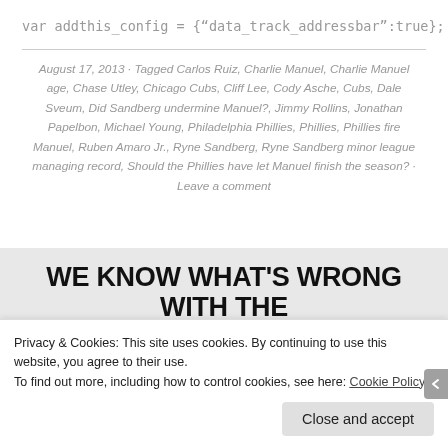var addthis_config = {“data_track_addressbar”:true};
August 17, 2013 · Tagged Carlos Ruiz, Charlie Manuel, Charlie Manuel age, Chase Utley, Chicago Cubs, Cliff Lee, Cody Asche, Cubs, Dale Sveum, Did Sandberg undermine Manuel?, Jimmy Rollins, Jonathan Papelbon, Michael Young, Philadelphia Phillies, Phillies, Phillies fire Manuel, Ruben Amaro Jr., Ryne Sandberg, Ryne Sandberg minor league managing record, Should the Phillies have let Manuel finish the season? · Leave a comment
WE KNOW WHAT’S WRONG WITH THE
Privacy & Cookies: This site uses cookies. By continuing to use this website, you agree to their use. To find out more, including how to control cookies, see here: Cookie Policy
Close and accept